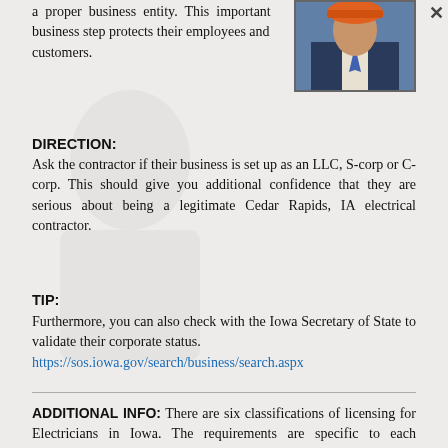a proper business entity. This important business step protects their employees and customers.
[Figure (photo): Photo of a person in a suit and orange hard hat, partially visible in upper right corner with a close (X) button]
DIRECTION:
Ask the contractor if their business is set up as an LLC, S-corp or C-corp. This should give you additional confidence that they are serious about being a legitimate Cedar Rapids, IA electrical contractor.
TIP:
Furthermore, you can also check with the Iowa Secretary of State to validate their corporate status. https://sos.iowa.gov/search/business/search.aspx
ADDITIONAL INFO: There are six classifications of licensing for Electricians in Iowa. The requirements are specific to each classification: